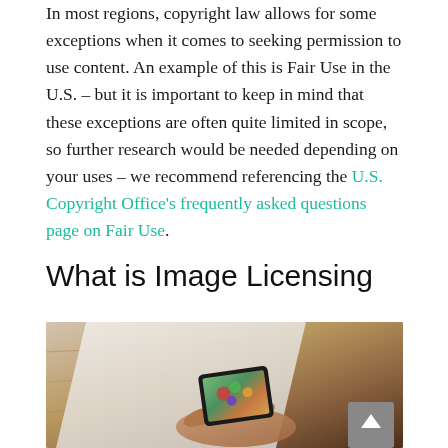In most regions, copyright law allows for some exceptions when it comes to seeking permission to use content. An example of this is Fair Use in the U.S. – but it is important to keep in mind that these exceptions are often quite limited in scope, so further research would be needed depending on your uses – we recommend referencing the U.S. Copyright Office's frequently asked questions page on Fair Use.
What is Image Licensing
[Figure (photo): Hands holding a smartphone displaying a photo of colorful vegetables, placed on a wooden surface. A scroll-to-top button is visible in the bottom-right corner.]